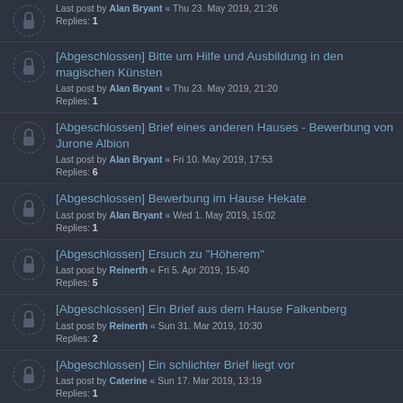Last post by Alan Bryant « Thu 23. May 2019, 21:26
Replies: 1
[Abgeschlossen] Bitte um Hilfe und Ausbildung in den magischen Künsten
Last post by Alan Bryant « Thu 23. May 2019, 21:20
Replies: 1
[Abgeschlossen] Brief eines anderen Hauses - Bewerbung von Jurone Albion
Last post by Alan Bryant « Fri 10. May 2019, 17:53
Replies: 6
[Abgeschlossen] Bewerbung im Hause Hekate
Last post by Alan Bryant « Wed 1. May 2019, 15:02
Replies: 1
[Abgeschlossen] Ersuch zu "Höherem"
Last post by Reinerth « Fri 5. Apr 2019, 15:40
Replies: 5
[Abgeschlossen] Ein Brief aus dem Hause Falkenberg
Last post by Reinerth « Sun 31. Mar 2019, 10:30
Replies: 2
[Abgeschlossen] Ein schlichter Brief liegt vor
Last post by Caterine « Sun 17. Mar 2019, 13:19
Replies: 1